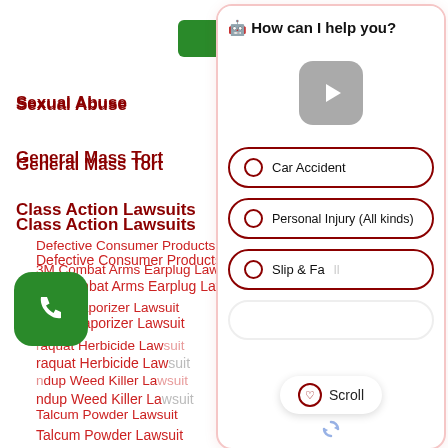[Figure (screenshot): Green 'Tap To Call' button at top of webpage]
Sexual Abuse
General Mass Tort
Class Action Lawsuits
Defective Consumer Products
3M Combat Arms Earplug Lawsuit
JUUL Vaporizer Lawsuit
Paraquat Herbicide Lawsuit
Roundup Weed Killer Lawsuit
Talcum Powder Lawsuit
Dangerous Drugs
Medical Devices
[Figure (screenshot): Chat widget overlay asking 'How can I help you?' with video play button and radio options: Car Accident, Personal Injury (All kinds), Slip & Fall, with Scroll button]
[Figure (screenshot): Green phone icon bubble (click to call) at bottom left]